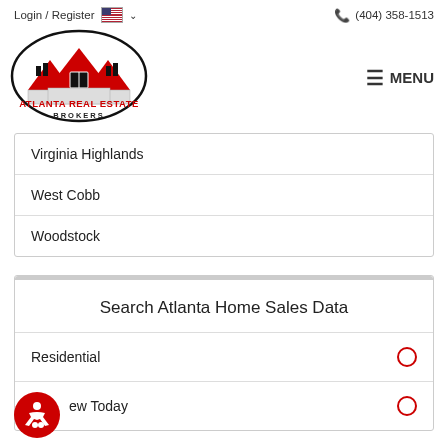Login / Register  (404) 358-1513
[Figure (logo): Atlanta Real Estate Brokers logo — oval with house rooftops silhouette in red and black, text ATLANTA REAL ESTATE BROKERS inside oval]
Virginia Highlands
West Cobb
Woodstock
Search Atlanta Home Sales Data
Residential
New Today